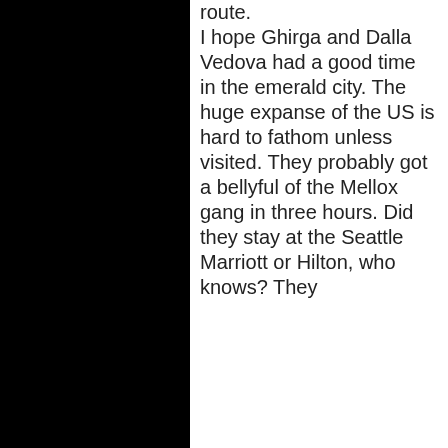[Figure (photo): Black panel on the left side of the page]
route.

I hope Ghirga and Dalla Vedova had a good time in the emerald city. The huge expanse of the US is hard to fathom unless visited. They probably got a bellyful of the Mellox gang in three hours. Did they stay at the Seattle Marriott or Hilton, who knows? They